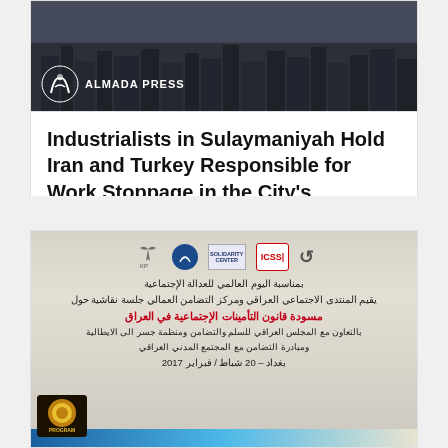[Figure (photo): Aerial/rooftop photograph of a city with Almada Press logo overlay in top left corner]
Industrialists in Sulaymaniyah Hold Iran and Turkey Responsible for Work Stoppage in the City's Factories
[Figure (photo): Photo of a banner/sign in Arabic with logos of organizations including ICSS, Solidarity Center, and others. The banner text is in Arabic about social insurance law in Iraq and mentions a conference on February 20, 2017 in Baghdad.]